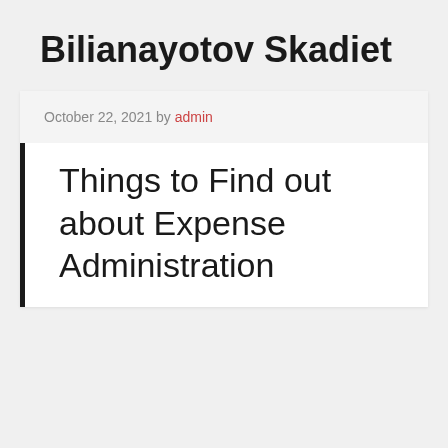Bilianayotov Skadiet
October 22, 2021 by admin
Things to Find out about Expense Administration